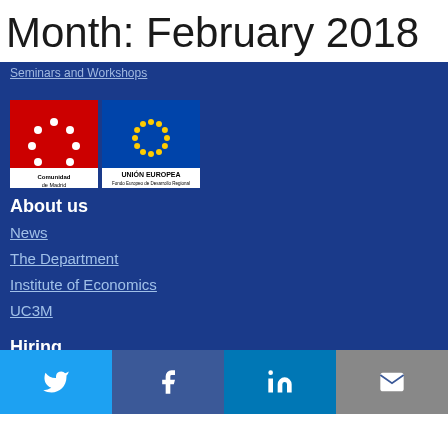Month: February 2018
Seminars and Workshops
[Figure (logo): Comunidad de Madrid and Unión Europea logos side by side]
About us
News
The Department
Institute of Economics
UC3M
Hiring
Job Opportunities
Job Market Candidates
Social media links: Twitter, Facebook, LinkedIn, Email